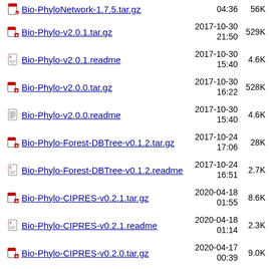Bio-PhyloNetwork-1.7.5.tar.gz  2017-...-... 04:36  56K
Bio-Phylo-v2.0.1.tar.gz  2017-10-30 21:50  529K
Bio-Phylo-v2.0.1.readme  2017-10-30 15:40  4.6K
Bio-Phylo-v2.0.0.tar.gz  2017-10-30 16:22  528K
Bio-Phylo-v2.0.0.readme  2017-10-30 15:40  4.6K
Bio-Phylo-Forest-DBTree-v0.1.2.tar.gz  2017-10-24 17:06  28K
Bio-Phylo-Forest-DBTree-v0.1.2.readme  2017-10-24 16:51  2.7K
Bio-Phylo-CIPRES-v0.2.1.tar.gz  2020-04-18 01:55  8.6K
Bio-Phylo-CIPRES-v0.2.1.readme  2020-04-18 01:14  2.3K
Bio-Phylo-CIPRES-v0.2.0.tar.gz  2020-04-17 00:39  9.0K
Bio-Phylo-CIPRES-v0.2.0.readme  2020-04-17 00:31  2.2K
Bio-Phylo-CIPRES-v0.1.2.tar.gz  2020-04-16 04:24  13K